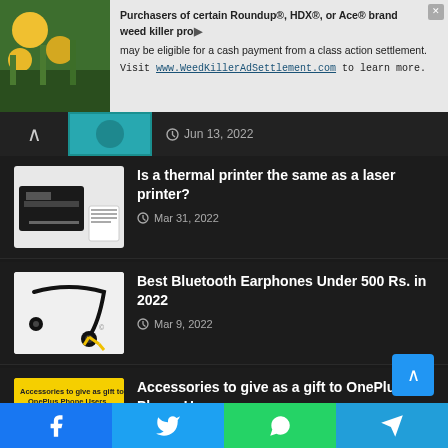[Figure (screenshot): Advertisement banner for WeedKillerAdSettlement.com class action settlement. Shows plant image on left, text about Roundup, HDX, or Ace brand weed killer products.]
Jun 13, 2022
Is a thermal printer the same as a laser printer?
Mar 31, 2022
Best Bluetooth Earphones Under 500 Rs. in 2022
Mar 9, 2022
Accessories to give as a gift to OnePlus Phone Users
Feb 12, 2022
Boat Bassheads 225 vs 242 : Which earphone is best